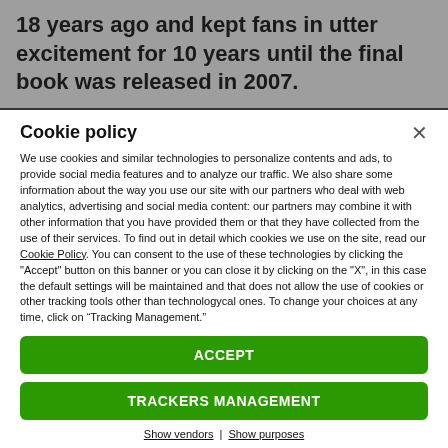18 years ago and kept fans in utter excitement for 10 years until the final book was released in 2007.
Cookie policy
We use cookies and similar technologies to personalize contents and ads, to provide social media features and to analyze our traffic. We also share some information about the way you use our site with our partners who deal with web analytics, advertising and social media content: our partners may combine it with other information that you have provided them or that they have collected from the use of their services. To find out in detail which cookies we use on the site, read our Cookie Policy. You can consent to the use of these technologies by clicking the "Accept" button on this banner or you can close it by clicking on the "X", in this case the default settings will be maintained and that does not allow the use of cookies or other tracking tools other than technologycal ones. To change your choices at any time, click on “Tracking Management.”
ACCEPT
TRACKERS MANAGEMENT
Show vendors | Show purposes